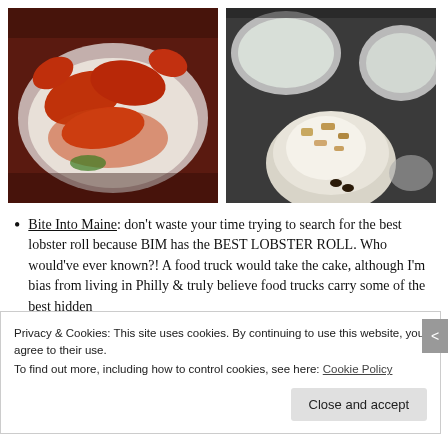[Figure (photo): Photo of cooked lobsters on a white plate with orange sauce]
[Figure (photo): Top-down photo of drinks in glasses and a jar with granola/cream, on a dark surface]
Bite Into Maine: don't waste your time trying to search for the best lobster roll because BIM has the BEST LOBSTER ROLL. Who would've ever known?! A food truck would take the cake, although I'm bias from living in Philly & truly believe food trucks carry some of the best hidden
Privacy & Cookies: This site uses cookies. By continuing to use this website, you agree to their use.
To find out more, including how to control cookies, see here: Cookie Policy
Close and accept